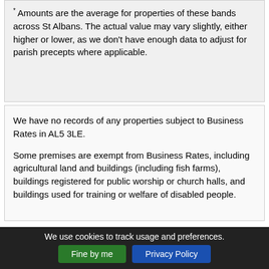* Amounts are the average for properties of these bands across St Albans. The actual value may vary slightly, either higher or lower, as we don't have enough data to adjust for parish precepts where applicable.
We have no records of any properties subject to Business Rates in AL5 3LE.
Some premises are exempt from Business Rates, including agricultural land and buildings (including fish farms), buildings registered for public worship or church halls, and buildings used for training or welfare of disabled people.
We use cookies to track usage and preferences. Fine by me  Privacy Policy